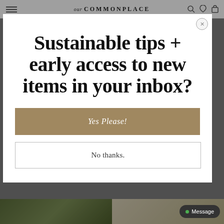our COMMONPLACE
Sustainable tips + early access to new items in your inbox?
Yes Please!
No thanks.